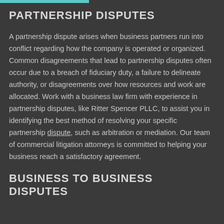PARTNERSHIP DISPUTES
A partnership dispute arises when business partners run into conflict regarding how the company is operated or organized. Common disagreements that lead to partnership disputes often occur due to a breach of fiduciary duty, a failure to delineate authority, or disagreements over how resources and work are allocated. Work with a business law firm with experience in partnership disputes, like Ritter Spencer PLLC, to assist you in identifying the best method of resolving your specific partnership dispute, such as arbitration or mediation. Our team of commercial litigation attorneys is committed to helping your business reach a satisfactory agreement.
BUSINESS TO BUSINESS DISPUTES